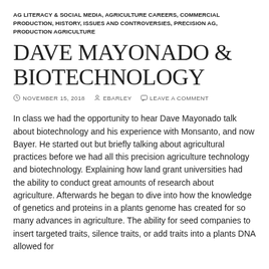AG LITERACY & SOCIAL MEDIA, AGRICULTURE CAREERS, COMMERCIAL PRODUCTION, HISTORY, ISSUES AND CONTROVERSIES, PRECISION AG, PRODUCTION AGRICULTURE
DAVE MAYONADO & BIOTECHNOLOGY
NOVEMBER 15, 2018   EBARLEY   LEAVE A COMMENT
In class we had the opportunity to hear Dave Mayonado talk about biotechnology and his experience with Monsanto, and now Bayer. He started out but briefly talking about agricultural practices before we had all this precision agriculture technology and biotechnology. Explaining how land grant universities had the ability to conduct great amounts of research about agriculture. Afterwards he began to dive into how the knowledge of genetics and proteins in a plants genome has created for so many advances in agriculture. The ability for seed companies to insert targeted traits, silence traits, or add traits into a plants DNA allowed for